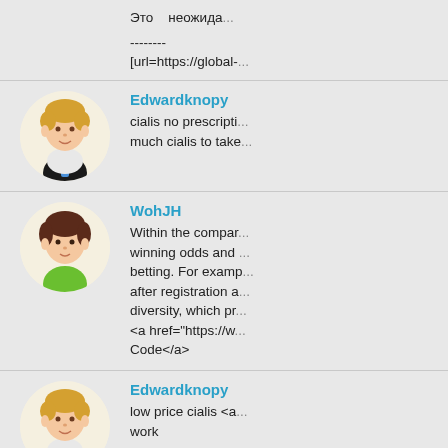Это — неожида...
--------
[url=https://global-...
Edwardknopy
cialis no prescripti... much cialis to take...
WohJH
Within the compar... winning odds and ... betting. For examp... after registration a... diversity, which pr... <a href="https://w... Code</a>
Edwardknopy
low price cialis <a... work
Artrgiste
cialis paypal austr... prescription...